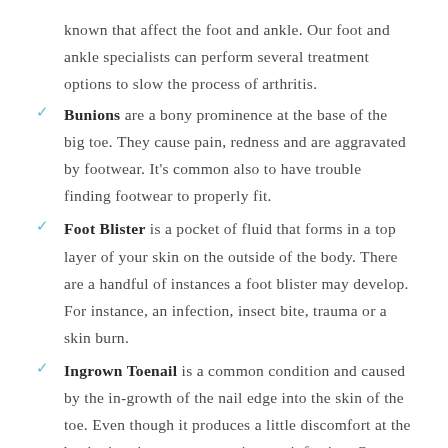known that affect the foot and ankle. Our foot and ankle specialists can perform several treatment options to slow the process of arthritis.
Bunions are a bony prominence at the base of the big toe. They cause pain, redness and are aggravated by footwear. It's common also to have trouble finding footwear to properly fit.
Foot Blister is a pocket of fluid that forms in a top layer of your skin on the outside of the body. There are a handful of instances a foot blister may develop. For instance, an infection, insect bite, trauma or a skin burn.
Ingrown Toenail is a common condition and caused by the in-growth of the nail edge into the skin of the toe. Even though it produces a little discomfort at the beginning, it may progress into an infection. Or worse, a recurring problem.